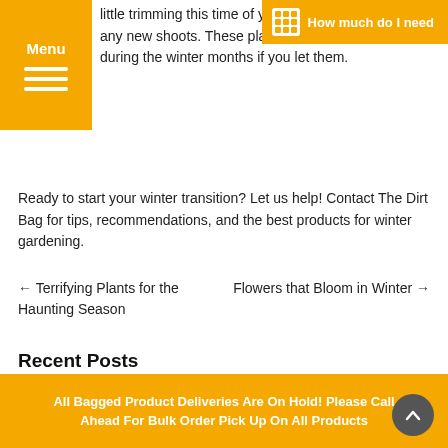little trimming this time of year. Cut off but don't trim any new shoots. These plants can enjoy a growth during the winter months if you let them.
Ready to start your winter transition? Let us help! Contact The Dirt Bag for tips, recommendations, and the best products for winter gardening.
← Terrifying Plants for the Haunting Season
Flowers that Bloom in Winter →
Recent Posts
→ Mulch Magic
→ Make the Most of Lanscaping Rocks
All Bagged Product Deliveries Are On Hold! Please Call Ahead For Bulk Order Pick Up On All Products